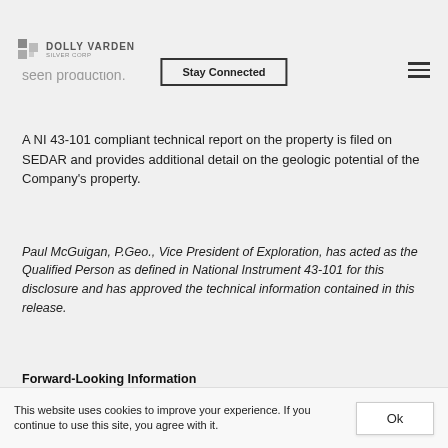Dolly Varden Silver Corp — Stay Connected
deposits, the Dolly Varden and Torbrit mines. Two other silver deposits, the North Star and Wolf have been outlined by diamond drilling and underground development, but have not yet seen production.
A NI 43-101 compliant technical report on the property is filed on SEDAR and provides additional detail on the geologic potential of the Company's property.
Paul McGuigan, P.Geo., Vice President of Exploration, has acted as the Qualified Person as defined in National Instrument 43-101 for this disclosure and has approved the technical information contained in this release.
Forward-Looking Information
This website uses cookies to improve your experience. If you continue to use this site, you agree with it.